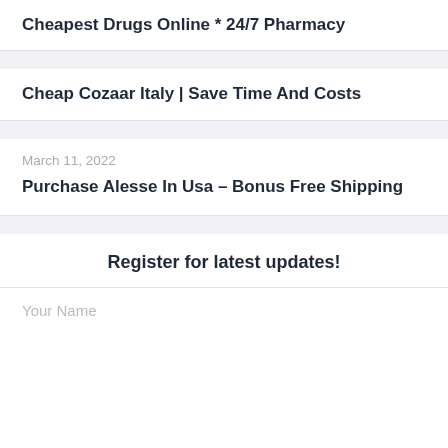Cheapest Drugs Online * 24/7 Pharmacy
Cheap Cozaar Italy | Save Time And Costs
March 11, 2022
Purchase Alesse In Usa – Bonus Free Shipping
Register for latest updates!
Your Name